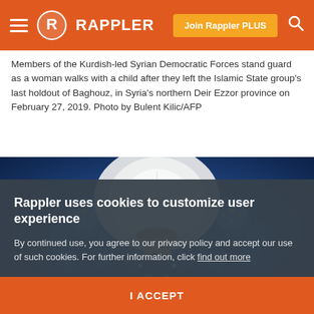RAPPLER — Join Rappler PLUS
Members of the Kurdish-led Syrian Democratic Forces stand guard as a woman walks with a child after they left the Islamic State group's last holdout of Baghouz, in Syria's northern Deir Ezzor province on February 27, 2019. Photo by Bulent Kilic/AFP
[Figure (photo): Carnival performers in elaborate blue costumes with jeweled decorations, with a central figure wearing a large white feathered headdress]
Rappler uses cookies to customize user experience
By continued use, you agree to our privacy policy and accept our use of such cookies. For further information, click find out more
I ACCEPT